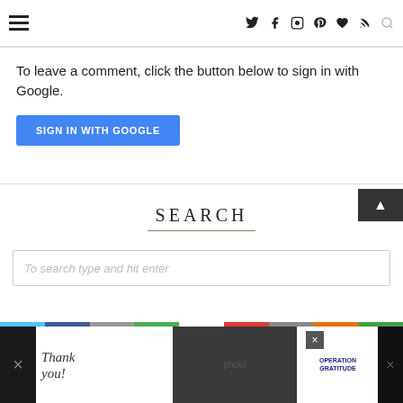Navigation header with hamburger menu and social icons (Twitter, Facebook, Instagram, Pinterest, Heart/Bloglovin, RSS, Search)
To leave a comment, click the button below to sign in with Google.
SIGN IN WITH GOOGLE
SEARCH
To search type and hit enter
[Figure (other): Advertisement banner at the bottom showing 'thank you' text with Operation Gratitude logo and firefighter photo]